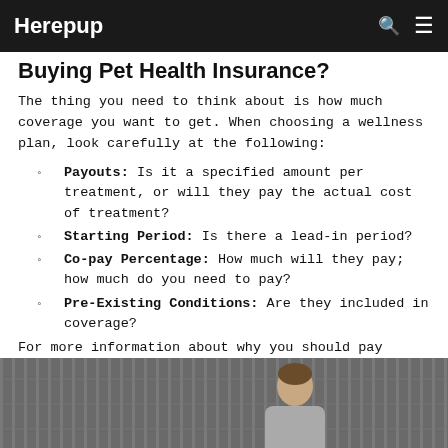Herepup
Buying Pet Health Insurance?
The thing you need to think about is how much coverage you want to get. When choosing a wellness plan, look carefully at the following:
Payouts: Is it a specified amount per treatment, or will they pay the actual cost of treatment?
Starting Period: Is there a lead-in period?
Co-pay Percentage: How much will they pay; how much do you need to pay?
Pre-Existing Conditions: Are they included in coverage?
For more information about why you should pay attention to these things, check out this helpful video:
[Figure (photo): A video thumbnail showing a man in front of what appears to be a kennel or cage structure.]